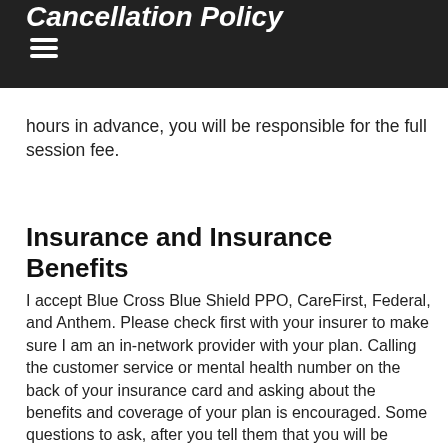Cancellation Policy
If you do not show up for your scheduled appointment without having notified me at least 24 hours in advance, you will be responsible for the full session fee.
Insurance and Insurance Benefits
I accept Blue Cross Blue Shield PPO, CareFirst, Federal, and Anthem.  Please check first with your insurer to make sure I am an in-network provider with your plan.  Calling the customer service or mental health number on the back of your insurance card and asking about the benefits and coverage of your plan is encouraged.  Some questions to ask, after you tell them that you will be seeing a Licensed Clinical Social Worker, may include: